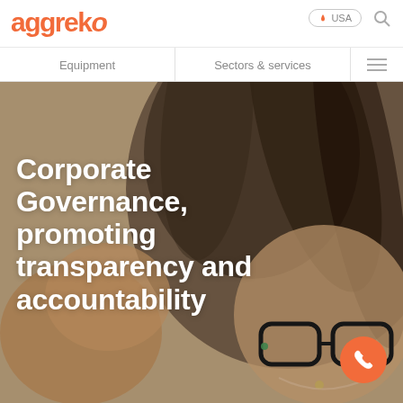aggrekо — Equipment | Sectors & services | USA
[Figure (photo): Hero banner photo of two women smiling, one wearing glasses with dark frames, overlaid with white bold text reading 'Corporate Governance, promoting transparency and accountability']
Corporate Governance, promoting transparency and accountability